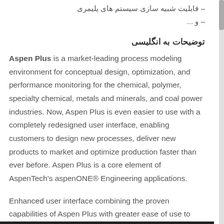– قابلیت شبیه سازی سیستم های پلیمری
– و ...
توضیحات به انگلیسی
Aspen Plus is a market-leading process modeling environment for conceptual design, optimization, and performance monitoring for the chemical, polymer, specialty chemical, metals and minerals, and coal power industries. Now, Aspen Plus is even easier to use with a completely redesigned user interface, enabling customers to design new processes, deliver new products to market and optimize production faster than ever before. Aspen Plus is a core element of AspenTech's aspenONE® Engineering applications.
Enhanced user interface combining the proven capabilities of Aspen Plus with greater ease of use to help beginners, current and expert users become productive faster.